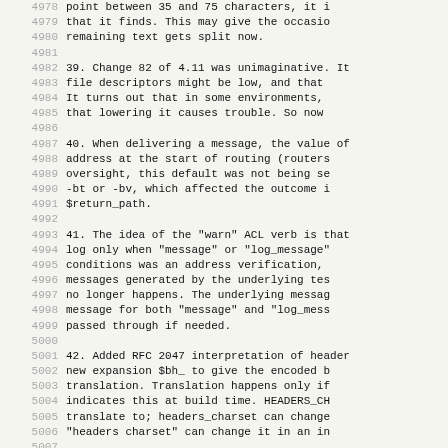39. Change 82 of 4.11 was unimaginative. It ... file descriptors might be low, and that ... It turns out that in some environments, ... that lowering it causes trouble. So now ...
40. When delivering a message, the value of ... address at the start of routing (routers ... oversight, this default was not being se ... -bt or -bv, which affected the outcome i ... $return_path.
41. The idea of the "warn" ACL verb is that ... log only when "message" or "log_message" ... conditions was an address verification, ... messages generated by the underlying tes ... no longer happens. The underlying messag ... message for both "message" and "log_mess ... passed through if needed.
42. Added RFC 2047 interpretation of header ... new expansion $bh_ to give the encoded b ... translation. Translation happens only if ... indicates this at build time. HEADERS_CH ... translate to; headers_charset can change ... "headers charset" can change it in an in
43. Now that we have a default RFC 2047 char ... that creates RFC 2047 encoded "words" la ... of always using iso-8859-1. The cases...